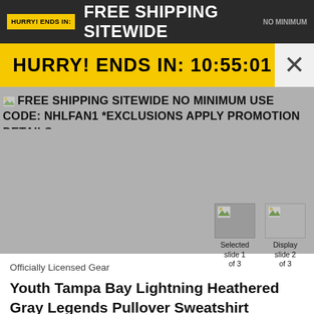HURRY! ENDS IN: FREE SHIPPING SITEWIDE NO MINIMUM
HURRY! ENDS IN: 10:55:01
FREE SHIPPING SITEWIDE NO MINIMUM USE CODE: NHLFAN1 *EXCLUSIONS APPLY PROMOTION DETAILS
[Figure (screenshot): Three slide thumbnail navigation images labeled: Selected slide 1 of 3, Display slide 2 of 3, Display slide 3 of 3]
Officially Licensed Gear
Youth Tampa Bay Lightning Heathered Gray Legends Pullover Sweatshirt